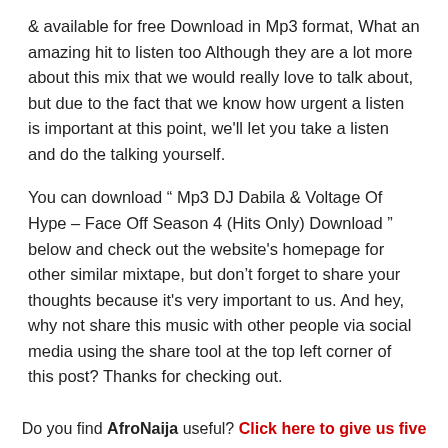& available for free Download in Mp3 format, What an amazing hit to listen too Although they are a lot more about this mix that we would really love to talk about, but due to the fact that we know how urgent a listen is important at this point, we'll let you take a listen and do the talking yourself.
You can download “ Mp3 DJ Dabila & Voltage Of Hype – Face Off Season 4 (Hits Only) Download ” below and check out the website's homepage for other similar mixtape, but don’t forget to share your thoughts because it's very important to us. And hey, why not share this music with other people via social media using the share tool at the top left corner of this post? Thanks for checking out.
Do you find AfroNaija useful? Click here to give us five